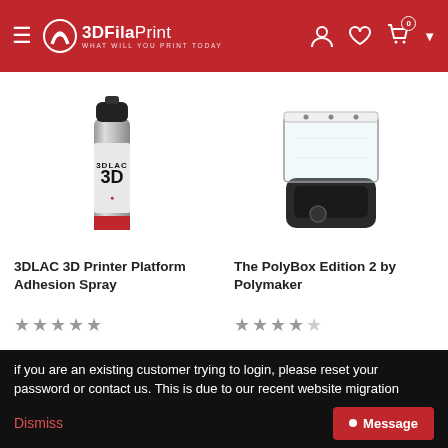3DFilaPrint — WHAT WILL YOU PRINT TODAY
[Figure (photo): 3DLAC 3D Printer Platform Adhesion Spray can]
3DLAC 3D Printer Platform Adhesion Spray
[Figure (other): Star rating: 5 out of 5 stars]
[Figure (photo): The PolyBox Edition 2 by Polymaker — clear box with black base]
The PolyBox Edition 2 by Polymaker
[Figure (other): Star rating: 3.5 out of 5 stars]
if you are an existing customer trying to login, please reset your password or contact us. This is due to our recent website migration
Dismiss
Message